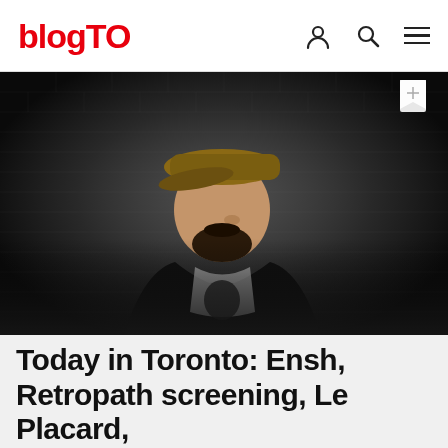blogTO
[Figure (photo): A man wearing a brown snapback cap and a black jacket over a graphic t-shirt, posing in front of a white brick wall. The photo has a dark, moody aesthetic with dramatic lighting.]
Today in Toronto: Ensh, Retropath screening, Le Placard, Raconteurs, Mercer Multiplier, M...